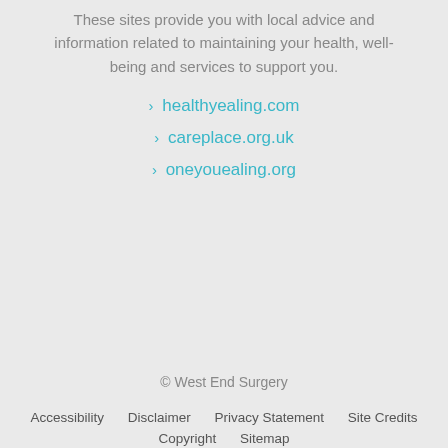These sites provide you with local advice and information related to maintaining your health, well-being and services to support you.
healthyealing.com
careplace.org.uk
oneyouealing.org
© West End Surgery
Accessibility   Disclaimer   Privacy Statement   Site Credits
Copyright   Sitemap